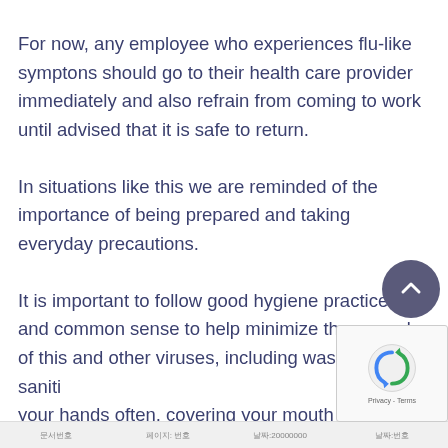For now, any employee who experiences flu-like symptons should go to their health care provider immediately and also refrain from coming to work until advised that it is safe to return.
In situations like this we are reminded of the importance of being prepared and taking everyday precautions.
It is important to follow good hygiene practices and common sense to help minimize the spread of this and other viruses, including washing and sanitizing your hands often, covering your mouth when
문서번호  |  페이지: 번호  |  날짜:20000000  |  날짜:번호